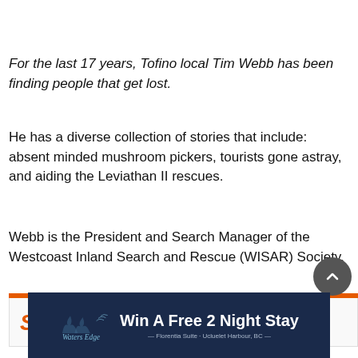For the last 17 years, Tofino local Tim Webb has been finding people that get lost.
He has a diverse collection of stories that include: absent minded mushroom pickers, tourists gone astray, and aiding the Leviathan II rescues.
Webb is the President and Search Manager of the Westcoast Inland Search and Rescue (WISAR) Society.
[Figure (other): Partially visible orange-accented article card with orange italic text visible at bottom]
[Figure (other): Advertisement banner: Waters Edge - Win A Free 2 Night Stay, dark navy background with white text and logo]